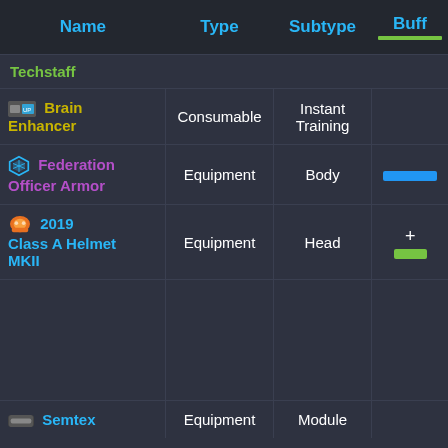| Name | Type | Subtype | Buff |
| --- | --- | --- | --- |
| Techstaff |  |  |  |
| Brain Enhancer | Consumable | Instant Training |  |
| Federation Officer Armor | Equipment | Body |  |
| 2019 Class A Helmet MKII | Equipment | Head | + |
| Semtex | Equipment | Module |  |